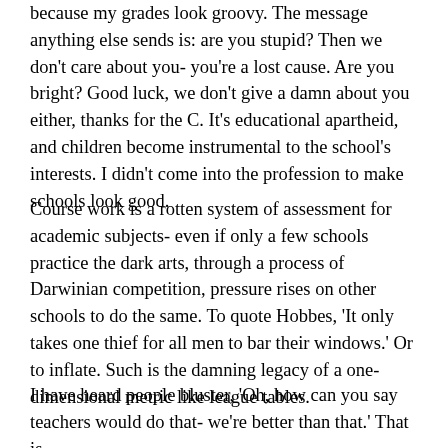because my grades look groovy. The message anything else sends is: are you stupid? Then we don't care about you- you're a lost cause. Are you bright? Good luck, we don't give a damn about you either, thanks for the C. It's educational apartheid, and children become instrumental to the school's interests. I didn't come into the profession to make schools look good.
Course work is a rotten system of assessment for academic subjects- even if only a few schools practice the dark arts, through a process of Darwinian competition, pressure rises on other schools to do the same. To quote Hobbes, 'It only takes one thief for all men to bar their windows.' Or to inflate. Such is the damning legacy of a one-dimensional metric like league tables.
I have heard people bluster, 'Oh, how can you say teachers would do that- we're better than that.' That is